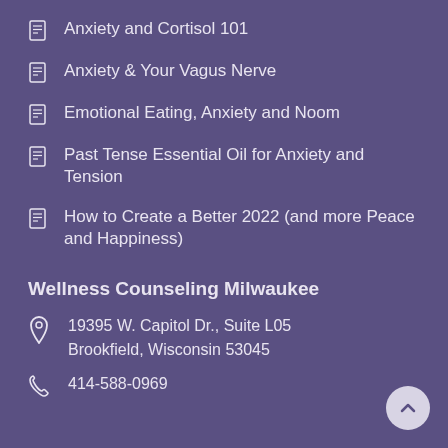Anxiety and Cortisol 101
Anxiety & Your Vagus Nerve
Emotional Eating, Anxiety and Noom
Past Tense Essential Oil for Anxiety and Tension
How to Create a Better 2022 (and more Peace and Happiness)
Wellness Counseling Milwaukee
19395 W. Capitol Dr., Suite L05
Brookfield, Wisconsin 53045
414-588-0969